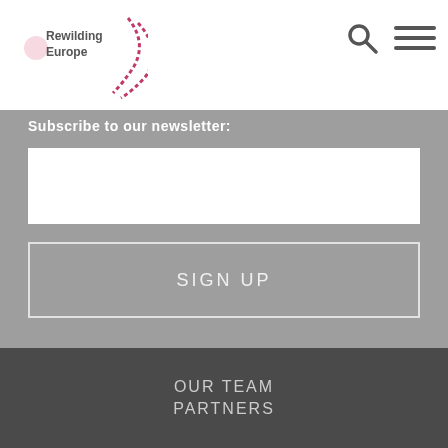[Figure (logo): Rewilding Europe logo with purple swoosh/bird design and text 'Rewilding Europe']
[Figure (illustration): Search icon (magnifying glass) in top right header]
[Figure (illustration): Hamburger menu icon in top right header]
Subscribe to our newsletter:
SIGN UP
[Figure (illustration): Social media icons row: Facebook, Twitter, Instagram, YouTube, LinkedIn — each in a dark gray square]
OUR TEAM
PARTNERS